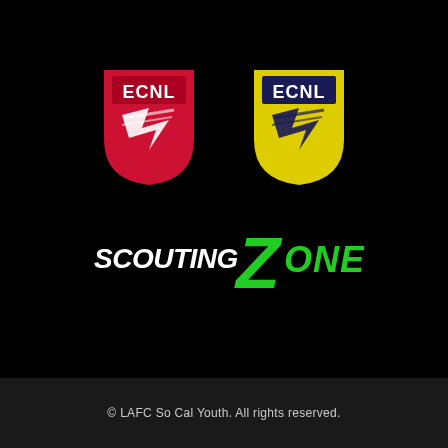[Figure (logo): Two ECNL shield logos side by side — left shield in red with 'ECNL' text and lightning bolt graphic, right shield in yellow with 'ECNL' text and lightning bolt graphic in dark blue]
[Figure (logo): Scouting Zone logo — white italic text 'SCOUTING' next to a large green stylized 'Z' followed by green 'ONE' text]
© LAFC So Cal Youth. All rights reserved.